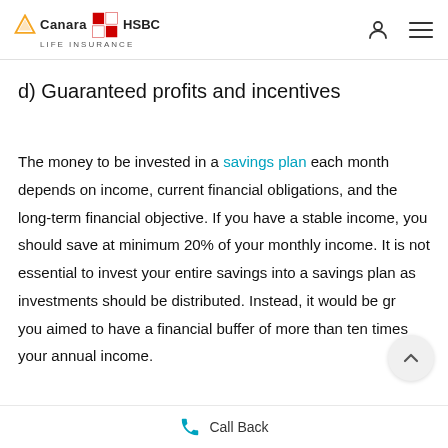Canara HSBC Life Insurance
d) Guaranteed profits and incentives
The money to be invested in a savings plan each month depends on income, current financial obligations, and the long-term financial objective. If you have a stable income, you should save at minimum 20% of your monthly income. It is not essential to invest your entire savings into a savings plan as investments should be distributed. Instead, it would be great if you aimed to have a financial buffer of more than ten times your annual income.
You May Also Read About - Post Office Monthly Income